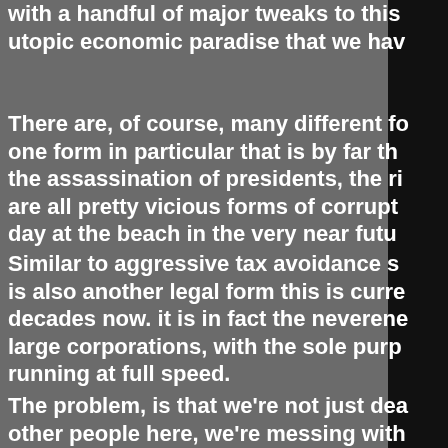with a handful of major tweaks to this utopic economic paradise that we hav
There are, of course, many different fo one form in particular that is by far th the assassination of presidents, the ri are all pretty vicious forms of corrupt day at the beach in the very near futu
Similar to aggressive tax avoidance s is also another legal form this is curre decades now. it is in fact the neverene large corporations, with the sole purp running at full speed.
The problem, is that we're not just dea other people here, we're messing with